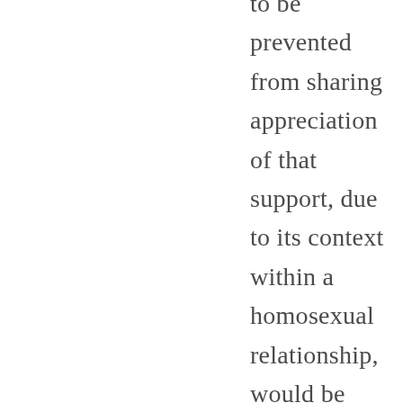to be prevented from sharing appreciation of that support, due to its context within a homosexual relationship, would be unjust.